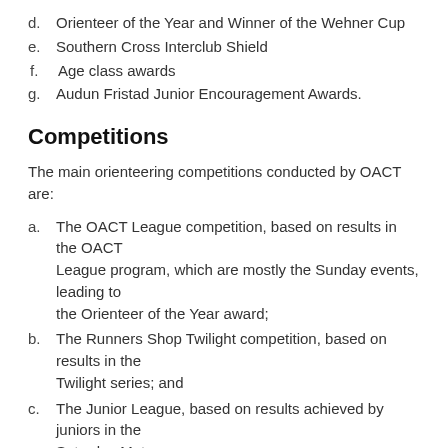d. Orienteer of the Year and Winner of the Wehner Cup
e. Southern Cross Interclub Shield
f. Age class awards
g. Audun Fristad Junior Encouragement Awards.
Competitions
The main orienteering competitions conducted by OACT are:
a. The OACT League competition, based on results in the OACT League program, which are mostly the Sunday events, leading to the Orienteer of the Year award;
b. The Runners Shop Twilight competition, based on results in the Twilight series; and
c. The Junior League, based on results achieved by juniors in the Saturday Metro program.
Strategic Plan